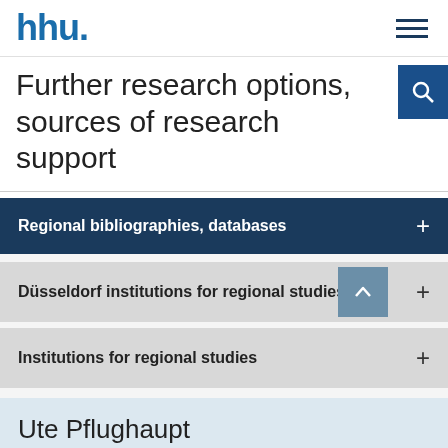[Figure (logo): HHU university logo with text 'hhu.' in blue]
Further research options, sources of research support
Regional bibliographies, databases
Düsseldorf institutions for regional studies
Institutions for regional studies
Ute Pflughaupt